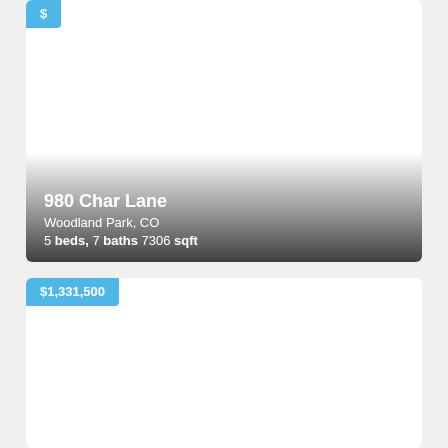[Figure (photo): Property listing card for 980 Char Lane, Woodland Park, CO. White/blank photo area with gradient overlay at bottom. Price badge at top left (partially cropped). Listing details overlaid on bottom gradient: address, city, beds/baths/sqft.]
980 Char Lane
Woodland Park, CO
5 beds, 7 baths 7306 sqft
[Figure (photo): Second property listing card. Price badge showing $1,331,500 at top left. Blank white photo area below.]